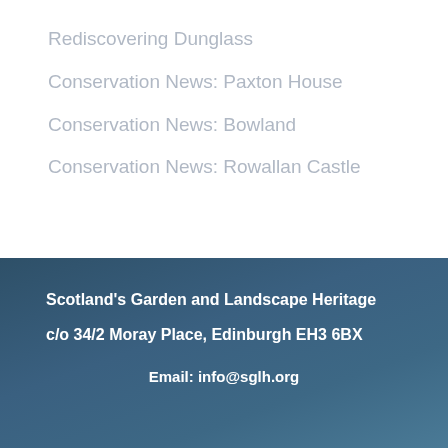Rediscovering Dunglass
Conservation News: Paxton House
Conservation News: Bowland
Conservation News: Rowallan Castle
Scotland's Garden and Landscape Heritage
c/o 34/2 Moray Place, Edinburgh EH3 6BX
Email: info@sglh.org